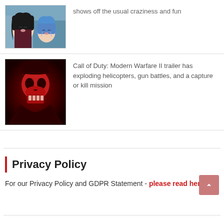[Figure (photo): Anime screenshot showing two characters, one with dark hair and one with blue hair, cropped at top]
shows off the usual craziness and fun
[Figure (photo): Call of Duty: Modern Warfare II promotional image showing a skull-faced character in red-tinted dark lighting]
Call of Duty: Modern Warfare II trailer has exploding helicopters, gun battles, and a capture or kill mission
Privacy Policy
For our Privacy Policy and GDPR Statement - please read here